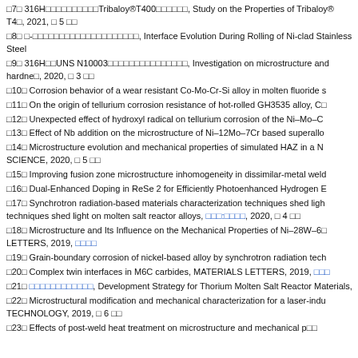□7□ 316H□□□□□□□□□□Tribaloy®T400□□□□□□, Study on the Properties of Tribaloy® T4□, 2021, □ 5 □□
□8□ □-□□□□□□□□□□□□□□□□□□□□, Interface Evolution During Rolling of Ni-clad Stainless Steel
□9□ 316H□□UNS N10003□□□□□□□□□□□□□□□, Investigation on microstructure and hardne□, 2020, □ 3 □□
□10□ Corrosion behavior of a wear resistant Co-Mo-Cr-Si alloy in molten fluoride s
□11□ On the origin of tellurium corrosion resistance of hot-rolled GH3535 alloy, C□
□12□ Unexpected effect of hydroxyl radical on tellurium corrosion of the Ni–Mo–C
□13□ Effect of Nb addition on the microstructure of Ni–12Mo–7Cr based superallo
□14□ Microstructure evolution and mechanical properties of simulated HAZ in a N SCIENCE, 2020, □ 5 □□
□15□ Improving fusion zone microstructure inhomogeneity in dissimilar-metal weld
□16□ Dual-Enhanced Doping in ReSe 2 for Efficiently Photoenhanced Hydrogen E
□17□ Synchrotron radiation-based materials characterization techniques shed ligh techniques shed light on molten salt reactor alloys, □□□:□□□□, 2020, □ 4 □□
□18□ Microstructure and Its Influence on the Mechanical Properties of Ni–28W–6□ LETTERS, 2019, □□□□
□19□ Grain-boundary corrosion of nickel-based alloy by synchrotron radiation tech
□20□ Complex twin interfaces in M6C carbides, MATERIALS LETTERS, 2019, □□□
□21□ □□□□□□□□□□□□, Development Strategy for Thorium Molten Salt Reactor Materials,
□22□ Microstructural modification and mechanical characterization for a laser-indu TECHNOLOGY, 2019, □ 6 □□
□23□ Effects of post-weld heat treatment on microstructure and mechanical p□□